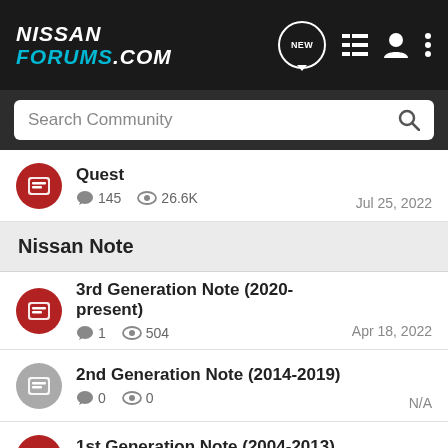[Figure (logo): NissanForums.com logo with navigation icons in dark header bar]
Search Community
Quest — 145 comments, 26.6K views — Jul 25, 2022
Nissan Note
3rd Generation Note (2020-present) — 1 comment, 504 views — Apr 18, 2022
2nd Generation Note (2014-2019) — 0 comments, 0 views — N/A
1st Generation Note (2004-2013) — 14 comments, 1.9K views — May 2, 2022